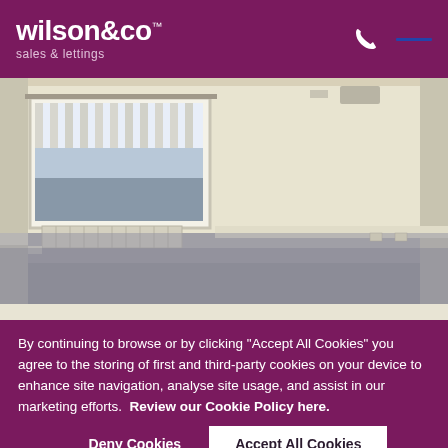wilson&co™ sales & lettings
[Figure (photo): Interior photo of an empty room with cream/beige walls, grey carpet flooring, a large window with vertical blinds on the left wall, and white skirting boards.]
By continuing to browse or by clicking "Accept All Cookies" you agree to the storing of first and third-party cookies on your device to enhance site navigation, analyse site usage, and assist in our marketing efforts.  Review our Cookie Policy here.
Deny Cookies | Accept All Cookies